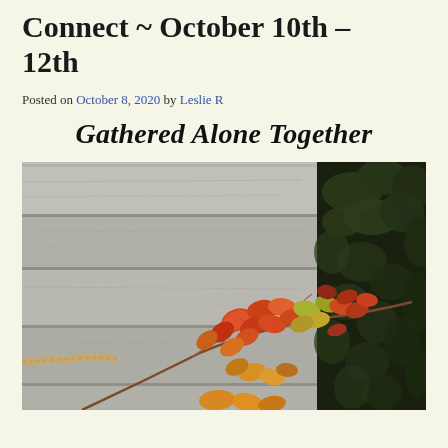Connect ~ October 10th – 12th
Posted on October 8, 2020 by Leslie R
Gathered Alone Together
[Figure (photo): Autumn leaves with orange, red, and yellow colors on thin branches against a weathered grey wooden plank background with dark foliage on the right side]